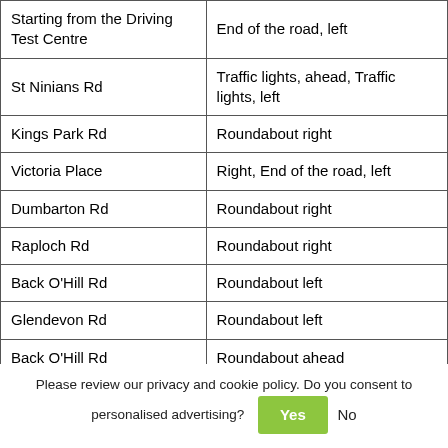| Starting from the Driving Test Centre | End of the road, left |
| St Ninians Rd | Traffic lights, ahead, Traffic lights, left |
| Kings Park Rd | Roundabout right |
| Victoria Place | Right, End of the road, left |
| Dumbarton Rd | Roundabout right |
| Raploch Rd | Roundabout right |
| Back O'Hill Rd | Roundabout left |
| Glendevon Rd | Roundabout left |
| Back O'Hill Rd | Roundabout ahead |
| Drip Rd | Roundabout left |
| Union St | Traffic lights, ahead |
Please review our privacy and cookie policy. Do you consent to personalised advertising? Yes No